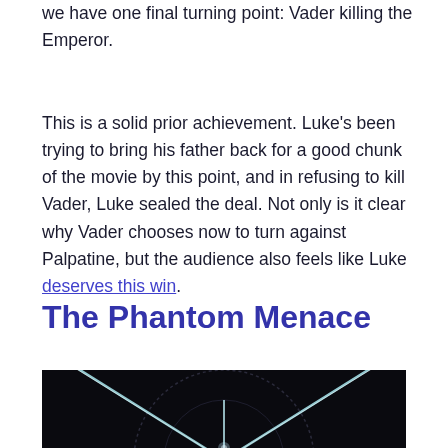we have one final turning point: Vader killing the Emperor.
This is a solid prior achievement. Luke's been trying to bring his father back for a good chunk of the movie by this point, and in refusing to kill Vader, Luke sealed the deal. Not only is it clear why Vader chooses now to turn against Palpatine, but the audience also feels like Luke deserves this win.
The Phantom Menace
[Figure (photo): Close-up dark image of lightsabers or a circular mechanical/sci-fi object with light beams against a dark background, referencing The Phantom Menace.]